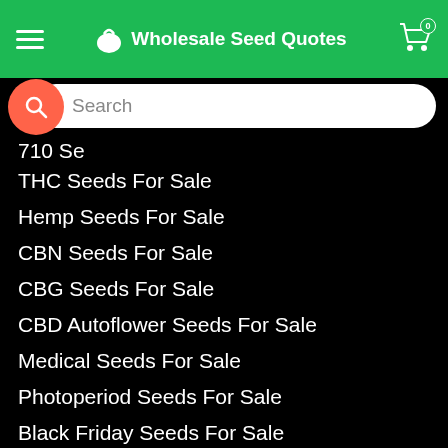Wholesale Seed Quotes
710 Se...
THC Seeds For Sale
Hemp Seeds For Sale
CBN Seeds For Sale
CBG Seeds For Sale
CBD Autoflower Seeds For Sale
Medical Seeds For Sale
Photoperiod Seeds For Sale
Black Friday Seeds For Sale
Grape Cannabis Seeds
OG Cannabis Seeds
Crack Cannabis Seeds
Black Cannabis Seeds
Sour Cannabis Seeds
Skunk Cannabis Seeds